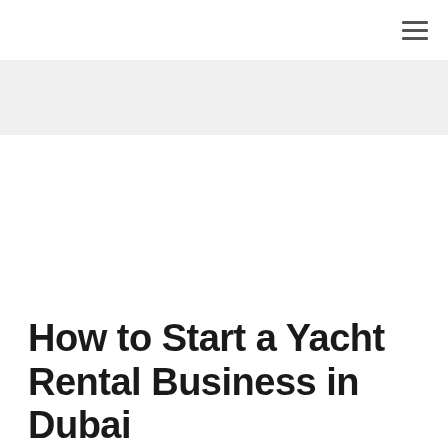≡
[Figure (other): Gray banner/hero image area]
How to Start a Yacht Rental Business in Dubai